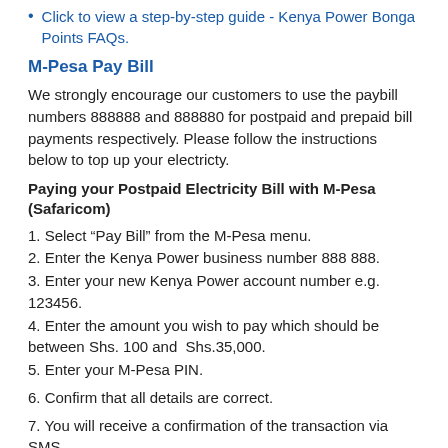Click to view a step-by-step guide - Kenya Power Bonga Points FAQs.
M-Pesa Pay Bill
We strongly encourage our customers to use the paybill numbers 888888 and 888880 for postpaid and prepaid bill payments respectively. Please follow the instructions below to top up your electricty.
Paying your Postpaid Electricity Bill with M-Pesa (Safaricom)
1. Select “Pay Bill” from the M-Pesa menu.
2. Enter the Kenya Power business number 888 888.
3. Enter your new Kenya Power account number e.g. 123456.
4. Enter the amount you wish to pay which should be between Shs. 100 and  Shs.35,000.
5. Enter your M-Pesa PIN.
6. Confirm that all details are correct.
7. You will receive a confirmation of the transaction via SMS.
How to Buy Kenya Power (KPLC) Prepaid Tokens via M-PESA Paybill Number 888880.